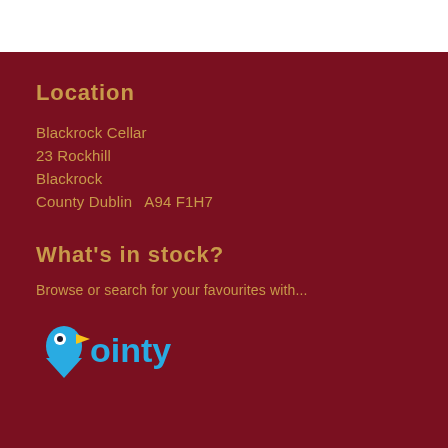Location
Blackrock Cellar
23 Rockhill
Blackrock
County Dublin  A94 F1H7
What's in stock?
Browse or search for your favourites with...
[Figure (logo): Pointy logo — blue teardrop/bird shape with yellow beak and white eye dot, with 'ointy' text in blue forming 'Pointy']